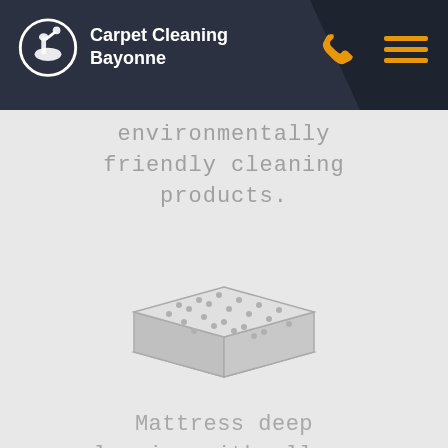Carpet Cleaning Bayonne
environmentally friendly cleaning products.
[Figure (illustration): Line art icon of a mattress with a quilted top surface, shown in isometric perspective, light gray color]
Mattress deep cleaning with allergy relief treatment.